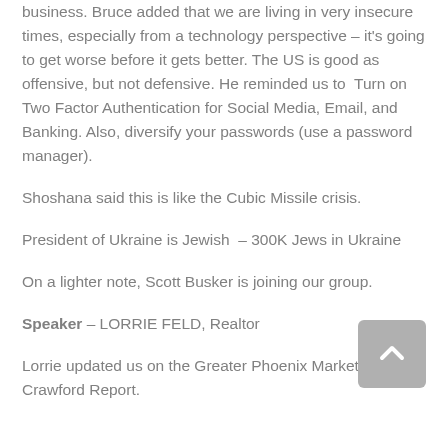business. Bruce added that we are living in very insecure times, especially from a technology perspective – it's going to get worse before it gets better. The US is good as offensive, but not defensive. He reminded us to Turn on Two Factor Authentication for Social Media, Email, and Banking. Also, diversify your passwords (use a password manager).
Shoshana said this is like the Cubic Missile crisis.
President of Ukraine is Jewish – 300K Jews in Ukraine
On a lighter note, Scott Busker is joining our group.
Speaker – LORRIE FELD, Realtor
Lorrie updated us on the Greater Phoenix Market from The Crawford Report.